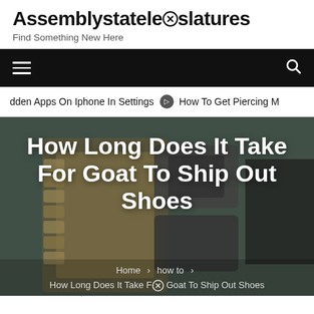Assemblystatelegislatures
Find Something New Here
[Figure (screenshot): Black navigation bar with hamburger menu icon on left and search icon on right]
dden Apps On Iphone In Settings  ⊙  How To Get Piercing M
[Figure (photo): Hero image of a watch/mechanical components with text overlay: How Long Does It Take For Goat To Ship Out Shoes]
How Long Does It Take For Goat To Ship Out Shoes
Home > how to > How Long Does It Take F⊗ Goat To Ship Out Shoes